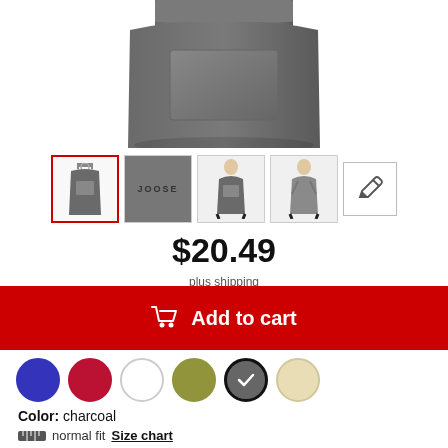[Figure (photo): Product photo of a dark charcoal gray apron with front pocket, partially cropped at top]
[Figure (photo): Row of 4 product thumbnails plus a pencil/edit icon thumbnail: (1) full apron view selected with red border, (2) close-up of fabric with JOOSE text, (3) front view on model, (4) back view on model, (5) pencil/edit icon]
$20.49
plus shipping
Add to cart
[Figure (other): Color swatches: blue, red/crimson, white, olive/khaki, charcoal (selected with checkmark), cream]
Color: charcoal
normal fit  Size chart